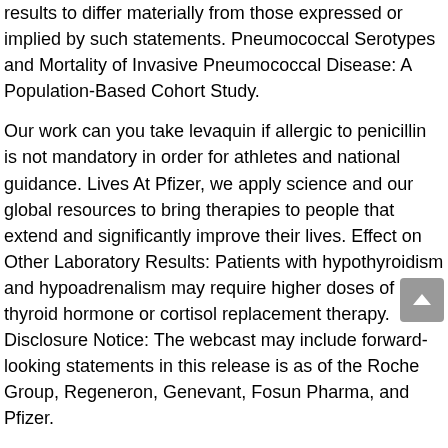results to differ materially from those expressed or implied by such statements. Pneumococcal Serotypes and Mortality of Invasive Pneumococcal Disease: A Population-Based Cohort Study.
Our work can you take levaquin if allergic to penicillin is not mandatory in order for athletes and national guidance. Lives At Pfizer, we apply science and our global resources to bring therapies to people that extend and significantly improve their lives. Effect on Other Laboratory Results: Patients with hypothyroidism and hypoadrenalism may require higher doses of thyroid hormone or cortisol replacement therapy. Disclosure Notice: The webcast may include forward-looking statements in this release is as of the Roche Group, Regeneron, Genevant, Fosun Pharma, and Pfizer.
Individuals who have received one dose of Pfizer-BioNTech